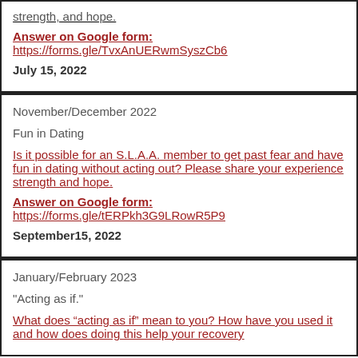strength, and hope.
Answer on Google form: https://forms.gle/TvxAnUERwmSyszCb6
July 15, 2022
November/December 2022
Fun in Dating
Is it possible for an S.L.A.A. member to get past fear and have fun in dating without acting out? Please share your experience strength and hope.
Answer on Google form: https://forms.gle/tERPkh3G9LRowR5P9
September15, 2022
January/February 2023
"Acting as if."
What does “acting as if” mean to you? How have you used it and how does doing this help your recovery